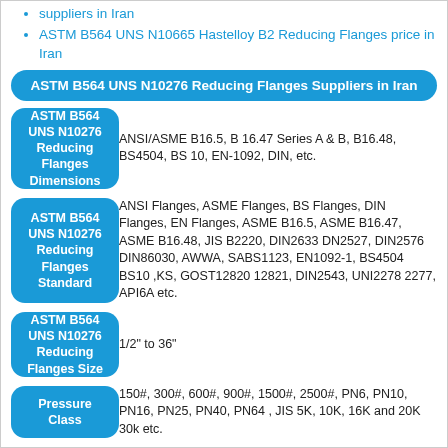suppliers in Iran
ASTM B564 UNS N10665 Hastelloy B2 Reducing Flanges price in Iran
ASTM B564 UNS N10276 Reducing Flanges Suppliers in Iran
| Label | Value |
| --- | --- |
| ASTM B564 UNS N10276 Reducing Flanges Dimensions | ANSI/ASME B16.5, B 16.47 Series A & B, B16.48, BS4504, BS 10, EN-1092, DIN, etc. |
| ASTM B564 UNS N10276 Reducing Flanges Standard | ANSI Flanges, ASME Flanges, BS Flanges, DIN Flanges, EN Flanges, ASME B16.5, ASME B16.47, ASME B16.48, JIS B2220, DIN2633 DN2527, DIN2576 DIN86030, AWWA, SABS1123, EN1092-1, BS4504 BS10 ,KS, GOST12820 12821, DIN2543, UNI2278 2277, API6A etc. |
| ASTM B564 UNS N10276 Reducing Flanges Size | 1/2" to 36" |
| Pressure Class | 150#, 300#, 600#, 900#, 1500#, 2500#, PN6, PN10, PN16, PN25, PN40, PN64 , JIS 5K, 10K, 16K and 20K 30k etc. |
| ASTM B564 | Petro-Chemical Industry, Oil and Gas Industry , Nuclear |